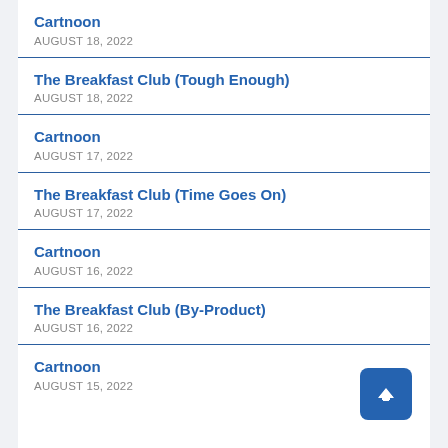Cartnoon
AUGUST 18, 2022
The Breakfast Club (Tough Enough)
AUGUST 18, 2022
Cartnoon
AUGUST 17, 2022
The Breakfast Club (Time Goes On)
AUGUST 17, 2022
Cartnoon
AUGUST 16, 2022
The Breakfast Club (By-Product)
AUGUST 16, 2022
Cartnoon
AUGUST 15, 2022